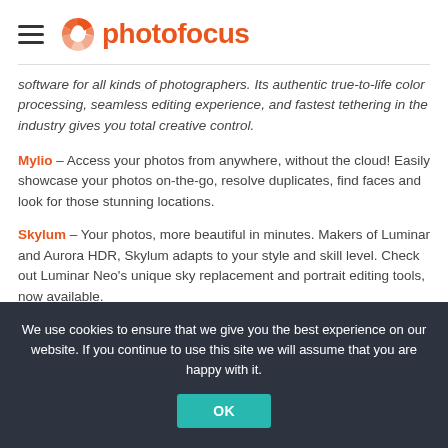photofocus
software for all kinds of photographers. Its authentic true-to-life color processing, seamless editing experience, and fastest tethering in the industry gives you total creative control.
Mylio – Access your photos from anywhere, without the cloud! Easily showcase your photos on-the-go, resolve duplicates, find faces and look for those stunning locations.
Skylum – Your photos, more beautiful in minutes. Makers of Luminar and Aurora HDR, Skylum adapts to your style and skill level. Check out Luminar Neo's unique sky replacement and portrait editing tools, now available.
We use cookies to ensure that we give you the best experience on our website. If you continue to use this site we will assume that you are happy with it.